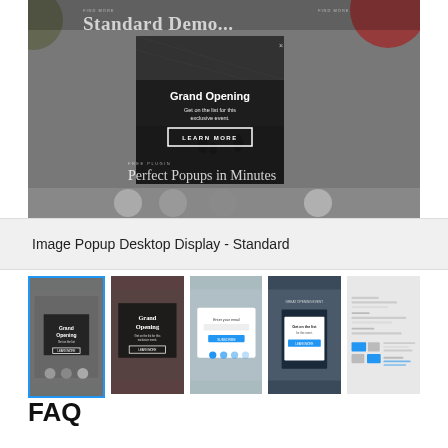[Figure (screenshot): Screenshot of a website demo showing a Grand Opening popup overlay with 'Standard Demo' text in the background, featuring a popup box with bold text 'Grand Opening', subtitle 'Get on the list for this exclusive event.' and a 'LEARN MORE' button. The bottom portion shows 'Perfect Popups in Minutes' heading.]
Image Popup Desktop Display - Standard
[Figure (screenshot): Row of 5 thumbnail screenshots: (1) active thumbnail showing popup on dark website, (2) popup with Grand Opening on red/dark background, (3) white popup dialog on light background with blue icons, (4) mobile popup on dark blue background, (5) settings/configuration panel with device previews]
FAQ